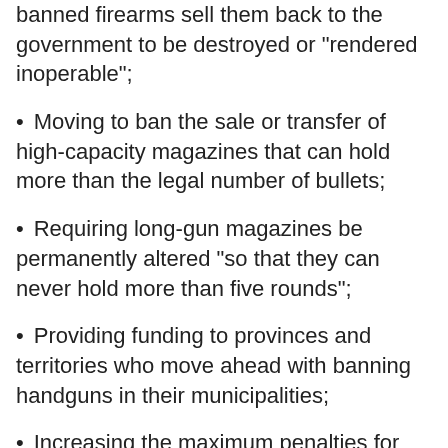banned firearms sell them back to the government to be destroyed or "rendered inoperable";
Moving to ban the sale or transfer of high-capacity magazines that can hold more than the legal number of bullets;
Requiring long-gun magazines be permanently altered "so that they can never hold more than five rounds";
Providing funding to provinces and territories who move ahead with banning handguns in their municipalities;
Increasing the maximum penalties for firearm trafficking and smuggling; and
Tabling "red flag laws" that would allow